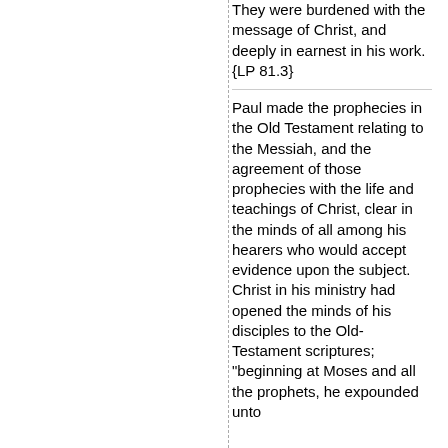They were burdened with the message of Christ, and deeply in earnest in his work. {LP 81.3}
Paul made the prophecies in the Old Testament relating to the Messiah, and the agreement of those prophecies with the life and teachings of Christ, clear in the minds of all among his hearers who would accept evidence upon the subject. Christ in his ministry had opened the minds of his disciples to the Old-Testament scriptures; "beginning at Moses and all the prophets, he expounded unto